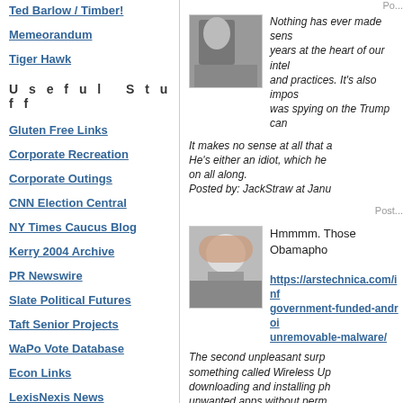Ted Barlow / Timber!
Memeorandum
Tiger Hawk
U s e f u l   S t u f f
Gluten Free Links
Corporate Recreation
Corporate Outings
CNN Election Central
NY Times Caucus Blog
Kerry 2004 Archive
PR Newswire
Slate Political Futures
Taft Senior Projects
WaPo Vote Database
Econ Links
LexisNexis News
Nothing has ever made sense to me in my years at the heart of our intelligence rules and practices. It's also impossible that he was spying on the Trump cam...
It makes no sense at all that a... He's either an idiot, which he... on all along.
Posted by: JackStraw at Janu...
Hmmmm. Those Obamapho...
https://arstechnica.com/info... government-funded-androi... unremovable-malware/
The second unpleasant surp... something called Wireless Up... downloading and installing ph... unwanted apps without perm...